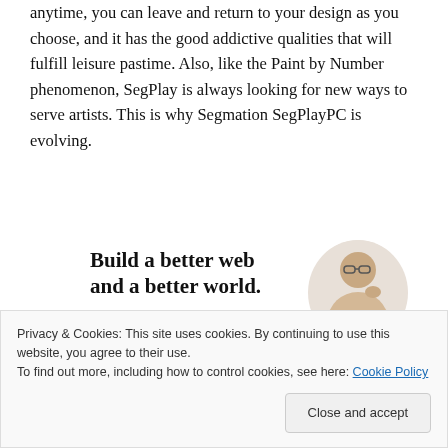anytime, you can leave and return to your design as you choose, and it has the good addictive qualities that will fulfill leisure pastime. Also, like the Paint by Number phenomenon, SegPlay is always looking for new ways to serve artists. This is why Segmation SegPlayPC is evolving.
[Figure (screenshot): Advertisement banner reading 'Build a better web and a better world.' with a blue 'Apply' button and an image of a man with glasses on the right side.]
Privacy & Cookies: This site uses cookies. By continuing to use this website, you agree to their use.
To find out more, including how to control cookies, see here: Cookie Policy
Close and accept